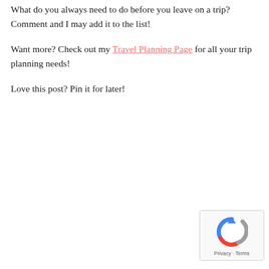What do you always need to do before you leave on a trip? Comment and I may add it to the list!
Want more? Check out my Travel Planning Page for all your trip planning needs!
Love this post? Pin it for later!
[Figure (other): reCAPTCHA badge with logo and Privacy · Terms text]